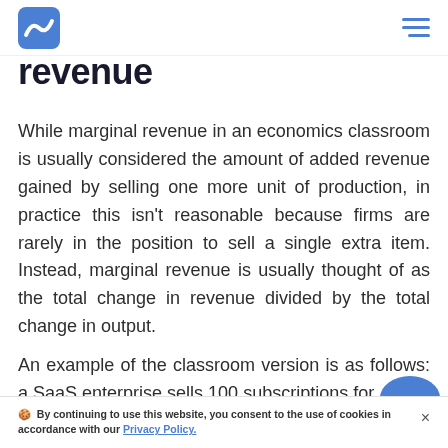[Logo] [Navigation menu]
revenue
While marginal revenue in an economics classroom is usually considered the amount of added revenue gained by selling one more unit of production, in practice this isn't reasonable because firms are rarely in the position to sell a single extra item. Instead, marginal revenue is usually thought of as the total change in revenue divided by the total change in output.
An example of the classroom version is as follows: a SaaS enterprise sells 100 subscriptions for
By continuing to use this website, you consent to the use of cookies in accordance with our Privacy Policy.